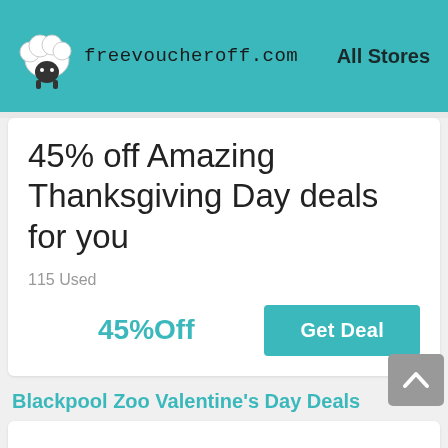freevoucheroff.com   All Stores
45% off Amazing Thanksgiving Day deals for you
115 Used
45%Off
Get Deal
Blackpool Zoo Valentine's Day Deals
Unlock up to 20% off Valentine's Day